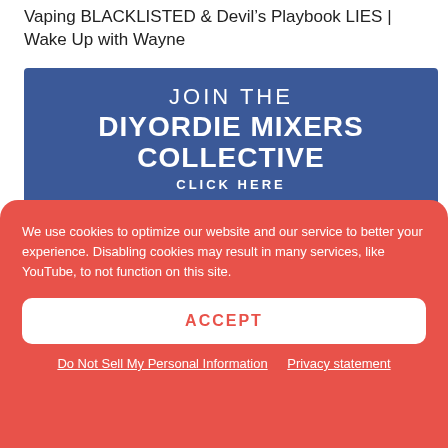Vaping BLACKLISTED & Devil's Playbook LIES | Wake Up with Wayne
[Figure (illustration): Blue Facebook group banner reading 'JOIN THE DIYORDIE MIXERS COLLECTIVE CLICK HERE' with a Facebook logo icon below]
We use cookies to optimize our website and our service to better your experience. Disabling cookies may result in many services, like YouTube, to not function on this site.
ACCEPT
Do Not Sell My Personal Information   Privacy statement